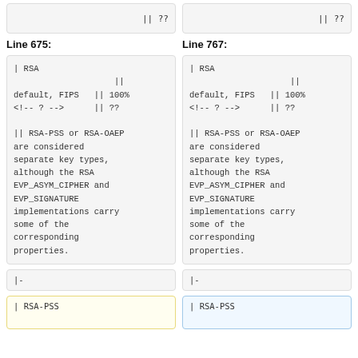|| ??
|| ??
Line 675:
Line 767:
| RSA
                    ||
default, FIPS   || 100%
<!-- ? -->      || ??

|| RSA-PSS or RSA-OAEP are considered separate key types, although the RSA EVP_ASYM_CIPHER and EVP_SIGNATURE implementations carry some of the corresponding properties.
| RSA
                    ||
default, FIPS   || 100%
<!-- ? -->      || ??

|| RSA-PSS or RSA-OAEP are considered separate key types, although the RSA EVP_ASYM_CIPHER and EVP_SIGNATURE implementations carry some of the corresponding properties.
|-
|-
| RSA-PSS
| RSA-PSS